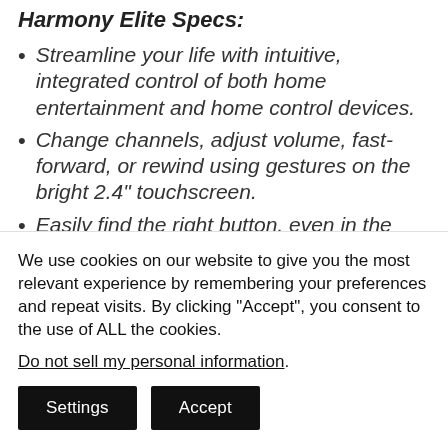Harmony Elite Specs:
Streamline your life with intuitive, integrated control of both home entertainment and home control devices.
Change channels, adjust volume, fast-forward, or rewind using gestures on the bright 2.4" touchscreen.
Easily find the right button, even in the dark, with motion-activated, backlit
We use cookies on our website to give you the most relevant experience by remembering your preferences and repeat visits. By clicking “Accept”, you consent to the use of ALL the cookies.
Do not sell my personal information.
Settings
Accept